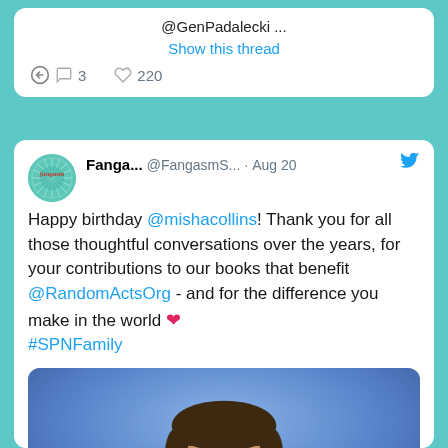@GenPadalecki ...
Show this thread
3   220
Fanga... @FangasmS... · Aug 20
Happy birthday @mishacollins! Thank you for all those thoughtful conversations over the years, for your contributions to our books that benefit @RandomActsOrg - and for the difference you make in the world ❤ #SPNFamily
[Figure (photo): Photo of a man with short dark hair wearing a black shirt, against a blue background]